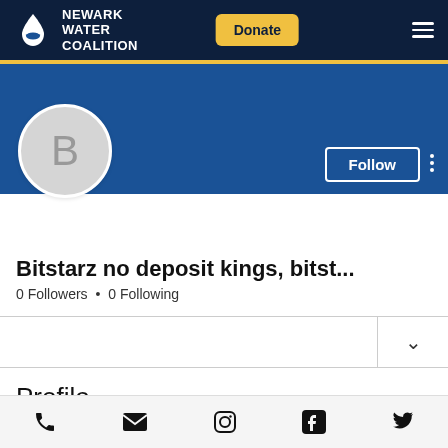[Figure (screenshot): Newark Water Coalition website navigation bar with logo, NEWARK WATER COALITION text, Donate button, and hamburger menu icon]
[Figure (screenshot): Blue profile banner with Follow button and three-dot menu]
[Figure (illustration): Gray circular avatar with letter B]
Bitstarz no deposit kings, bitst...
0 Followers • 0 Following
Profile
[Figure (screenshot): Bottom navigation bar with phone, email, Instagram, Facebook, and Twitter icons]